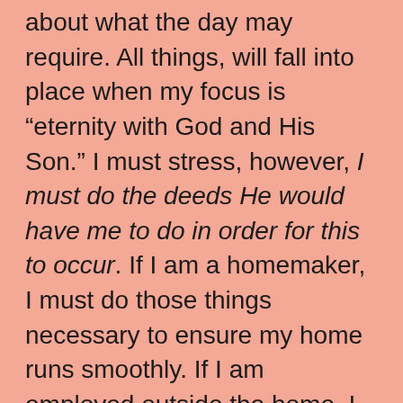about what the day may require. All things, will fall into place when my focus is “eternity with God and His Son.” I must stress, however, I must do the deeds He would have me to do in order for this to occur. If I am a homemaker, I must do those things necessary to ensure my home runs smoothly. If I am employed outside the home, I must do those things required of me upon that job. If I am a public servant, I must do those things needed to meet the needs of the public. Whatever my lot in life, I must be actively pursuing the needs of that lot. I cannot sit idly by, doing nothing, for things to fall into place. This is not what God’s